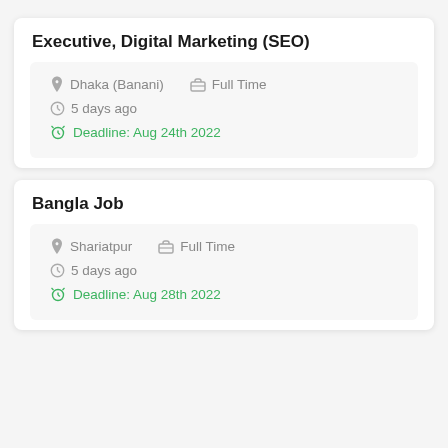Executive, Digital Marketing (SEO)
Dhaka (Banani)   Full Time
5 days ago
Deadline: Aug 24th 2022
Bangla Job
Shariatpur   Full Time
5 days ago
Deadline: Aug 28th 2022